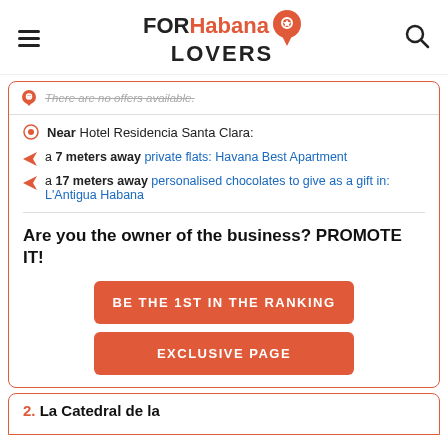FORHabana LOVERS
There are no offers available.
Near Hotel Residencia Santa Clara:
a 7 meters away private flats: Havana Best Apartment
a 17 meters away personalised chocolates to give as a gift in: L'Antigua Habana
Are you the owner of the business? PROMOTE IT!
BE THE 1ST IN THE RANKING
EXCLUSIVE PAGE
2. La Catedral de la